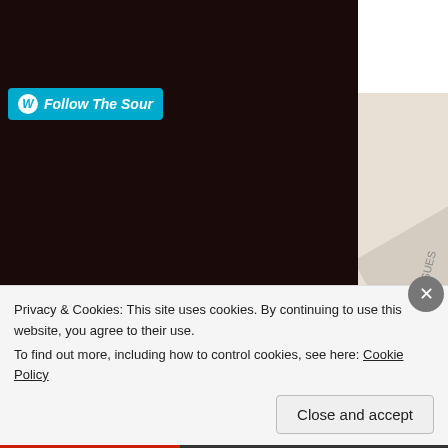[Figure (screenshot): WordPress VIP advertisement popup showing the WordPress VIP logo, a 'Learn more' button with arrow, and a collage of newspaper/magazine images including New York Post and Slack branding]
Follow The Sour
Search This S
Search ...
Past Posts
July 2017 (1)
REPORT THIS AD
Privacy & Cookies: This site uses cookies. By continuing to use this website, you agree to their use.
To find out more, including how to control cookies, see here: Cookie Policy
Close and accept